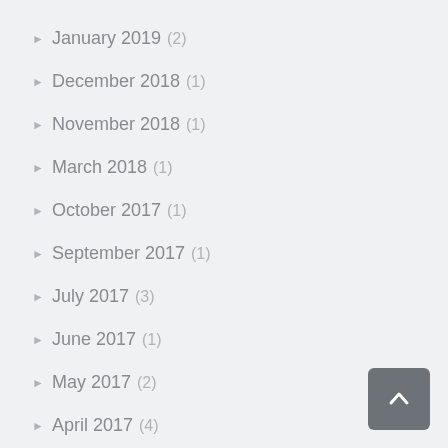January 2019 (2)
December 2018 (1)
November 2018 (1)
March 2018 (1)
October 2017 (1)
September 2017 (1)
July 2017 (3)
June 2017 (1)
May 2017 (2)
April 2017 (4)
March 2017 (3)